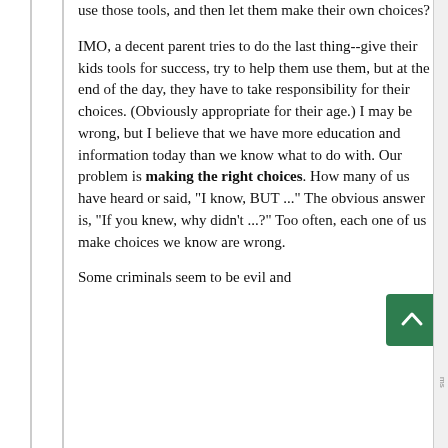use those tools, and then let them make their own choices?

IMO, a decent parent tries to do the last thing--give their kids tools for success, try to help them use them, but at the end of the day, they have to take responsibility for their choices. (Obviously appropriate for their age.) I may be wrong, but I believe that we have more education and information today than we know what to do with. Our problem is making the right choices. How many of us have heard or said, "I know, BUT ..." The obvious answer is, "If you knew, why didn't ...?" Too often, each one of us make choices we know are wrong.

Some criminals seem to be evil and